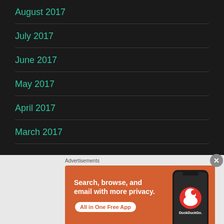August 2017
July 2017
June 2017
May 2017
April 2017
March 2017
Advertisements
[Figure (other): DuckDuckGo advertisement banner: orange background with text 'Search, browse, and email with more privacy. All in One Free App' and a phone image showing DuckDuckGo app]